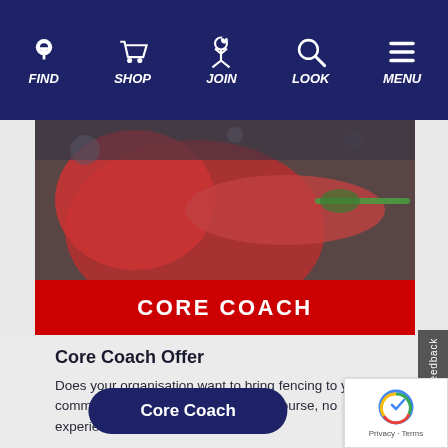[Figure (screenshot): Navigation bar with FIND, SHOP, JOIN, LOOK, MENU icons on dark navy background]
[Figure (photo): Child fencing with red jacket holding a fencing sword, blurred background]
CORE COACH
Core Coach Offer
Does your organisation want to bring fencing to your community? Explore our core coach course, no experience required.
[Figure (other): Core Coach button - dark navy rounded rectangle button]
[Figure (other): reCAPTCHA widget with Privacy - Terms text]